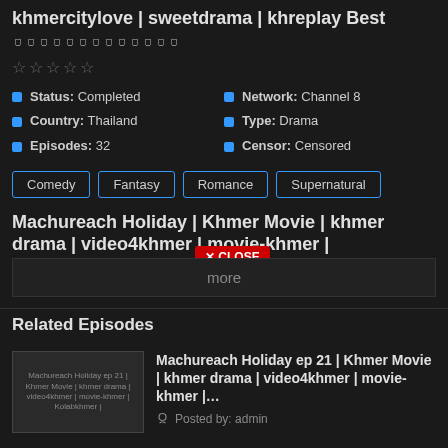khmercitylove | sweetdrama | khreplay Best
០០០០០០០០០០០០០
Status: Completed
Network: Channel 8
Country: Thailand
Type: Drama
Episodes: 32
Censor: Censored
Comedy | Fantasy | Romance | Supernatural
Machureach Holiday | Khmer Movie | khmer drama | video4khmer | movie-khmer |
more
Related Episodes
Machureach Holiday ep 21 | Khmer Movie | khmer drama | video4khmer | movie-khmer |...
Posted by: admin